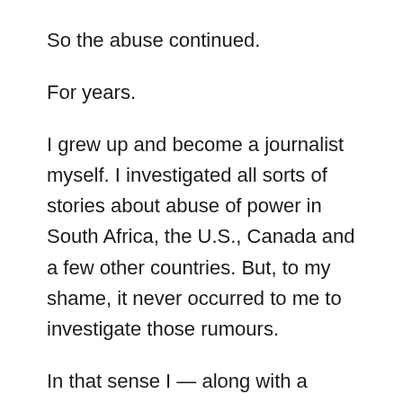So the abuse continued.
For years.
I grew up and become a journalist myself. I investigated all sorts of stories about abuse of power in South Africa, the U.S., Canada and a few other countries. But, to my shame, it never occurred to me to investigate those rumours.
In that sense I — along with a great many of my journalistic colleagues — am complicit in the terrible silence that so harmed the innocent and protected the guilty.
The multinational corporation which is the Roman